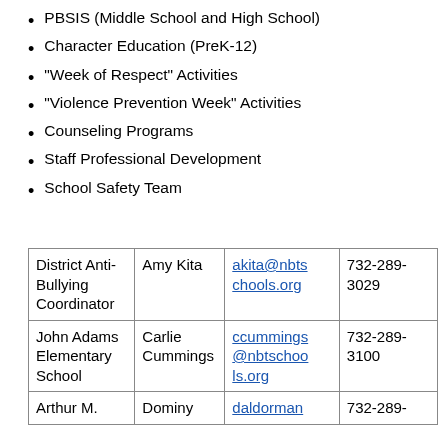PBSIS (Middle School and High School)
Character Education (PreK-12)
"Week of Respect" Activities
"Violence Prevention Week" Activities
Counseling Programs
Staff Professional Development
School Safety Team
|  |  |  |  |
| --- | --- | --- | --- |
| District Anti-Bullying Coordinator | Amy Kita | akita@nbtschools.org | 732-289-3029 |
| John Adams Elementary School | Carlie Cummings | ccummings@nbtschools.org | 732-289-3100 |
| Arthur M. | Dominy | daldorman... | 732-289-... |